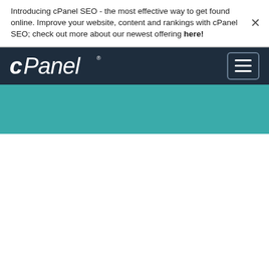Introducing cPanel SEO - the most effective way to get found online. Improve your website, content and rankings with cPanel SEO; check out more about our newest offering here!
[Figure (screenshot): cPanel website header with navigation bar showing cPanel logo on dark navy background and a hamburger menu button on the right]
[Figure (other): Teal/turquoise colored banner section below the navigation bar]
[Figure (other): Dark navy blue section occupying the lower portion of the page]